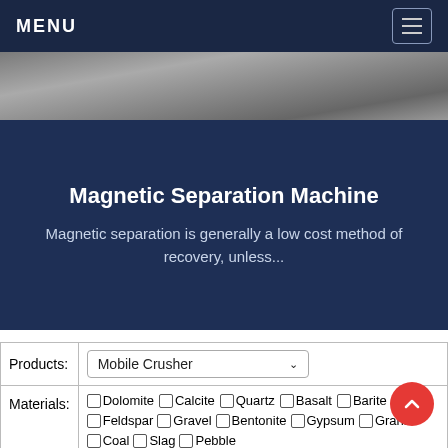MENU
[Figure (photo): Photograph of a magnetic separation machine on a concrete floor]
Magnetic Separation Machine
Magnetic separation is generally a low cost method of recovery, unless...
| Field | Value |
| --- | --- |
| Products: | Mobile Crusher |
| Materials: | Dolomite, Calcite, Quartz, Basalt, Barite, Feldspar, Gravel, Bentonite, Gypsum, Granite, Coal, Slag, Pebble, Other: As: Marble |
| Capacity: | >100 TPH, >50 TPH, >30 TPH, >10 TPH, >1 TPH |